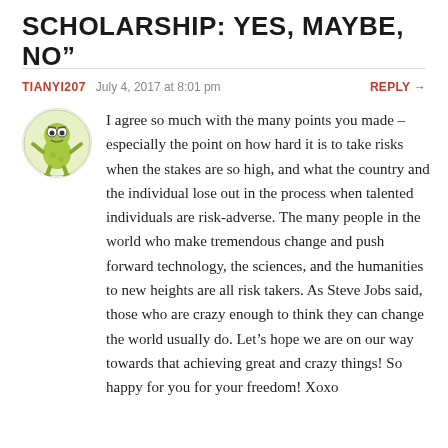SCHOLARSHIP: YES, MAYBE, NO”
TIANYI207   July 4, 2017 at 8:01 pm   REPLY →
I agree so much with the many points you made – especially the point on how hard it is to take risks when the stakes are so high, and what the country and the individual lose out in the process when talented individuals are risk-adverse. The many people in the world who make tremendous change and push forward technology, the sciences, and the humanities to new heights are all risk takers. As Steve Jobs said, those who are crazy enough to think they can change the world usually do. Let’s hope we are on our way towards that achieving great and crazy things! So happy for you for your freedom! Xoxo